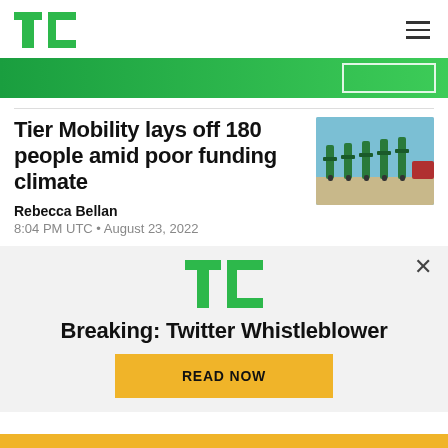TechCrunch
[Figure (other): Green banner advertisement with white outlined box on the right side]
Tier Mobility lays off 180 people amid poor funding climate
[Figure (photo): Photo of electric scooters parked in a row outdoors under blue sky]
Rebecca Bellan
8:04 PM UTC • August 23, 2022
[Figure (screenshot): TechCrunch modal popup with TC logo, headline 'Breaking: Twitter Whistleblower' and a yellow 'READ NOW' button]